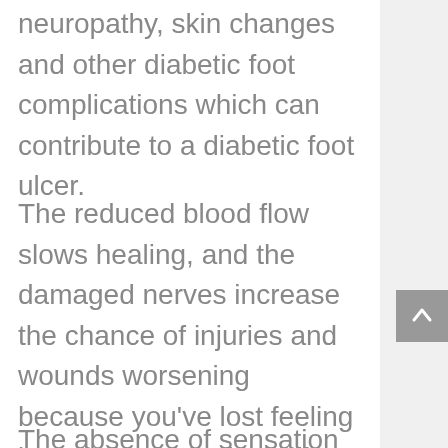neuropathy, skin changes and other diabetic foot complications which can contribute to a diabetic foot ulcer.
The reduced blood flow slows healing, and the damaged nerves increase the chance of injuries and wounds worsening because you've lost feeling in your feet. The lack of nerve sensation can weaken the foot bones and lead to a fracture even without any obvious trauma.
The absence of sensation and...